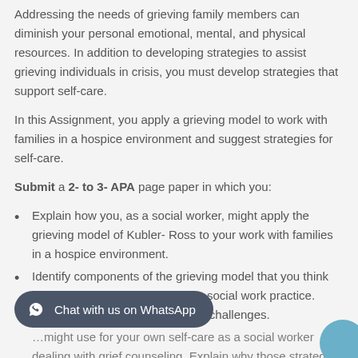Addressing the needs of grieving family members can diminish your personal emotional, mental, and physical resources. In addition to developing strategies to assist grieving individuals in crisis, you must develop strategies that support self-care.
In this Assignment, you apply a grieving model to work with families in a hospice environment and suggest strategies for self-care.
Submit a 2- to 3- APA page paper in which you:
Explain how you, as a social worker, might apply the grieving model of Kubler- Ross to your work with families in a hospice environment.
Identify components of the grieving model that you think might be difficult to apply to your social work practice. Explain why you anticipate these challenges.
...might use for your own self-care as a social worker dealing with grief counseling. Explain why those strategies might be